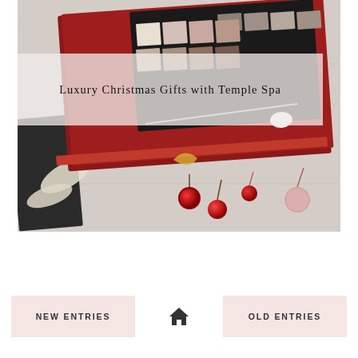[Figure (photo): Luxury Christmas gift photo showing eyeshadow makeup palette in red box with red berries and decorative elements on white wooden surface]
Luxury Christmas Gifts with Temple Spa
NEW ENTRIES
[Figure (other): Home/house icon]
OLD ENTRIES